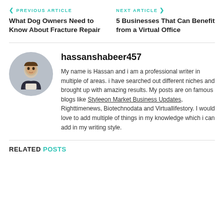< PREVIOUS ARTICLE    NEXT ARTICLE >
What Dog Owners Need to Know About Fracture Repair
5 Businesses That Can Benefit from a Virtual Office
hassanshabeer457
My name is Hassan and i am a professional writer in multiple of areas. i have searched out different niches and brought up with amazing results. My posts are on famous blogs like Styleeon Market Business Updates, Righttimenews, Biotechnodata and Virtuallifestory. I would love to add multiple of things in my knowledge which i can add in my writing style.
RELATED POSTS